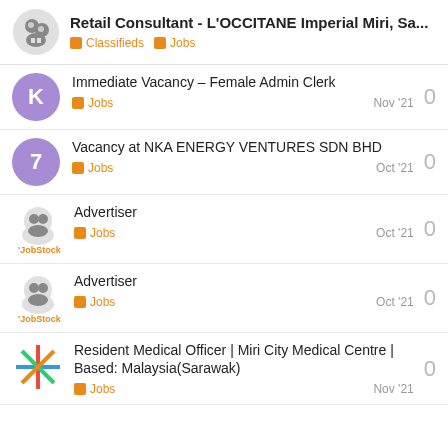Retail Consultant - L'OCCITANE Imperial Miri, Sa... | Classifieds | Jobs
Immediate Vacancy – Female Admin Clerk
Jobs
Nov '21
0
Vacancy at NKA ENERGY VENTURES SDN BHD
Jobs
Oct '21
0
Advertiser
Jobs
Oct '21
0
Advertiser
Jobs
Oct '21
0
Resident Medical Officer | Miri City Medical Centre | Based: Malaysia(Sarawak)
Jobs
Nov '21
0